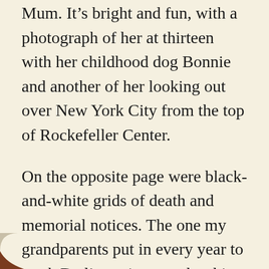Mum. It's bright and fun, with a photograph of her at thirteen with her childhood dog Bonnie and another of her looking out over New York City from the top of Rockefeller Center.
On the opposite page were black-and-white grids of death and memorial notices. The one my grandparents put in every year to mark Dad's anniversary has him smiling out at me, but the photo feels unfamiliar. It was taken at his second wedding.
I didn't cry then and I didn't cry on the train ... I did write a lengthy note to myself on my